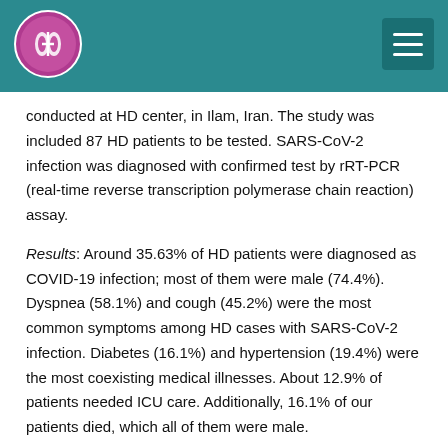Header bar with logo and navigation menu
conducted at HD center, in Ilam, Iran. The study was included 87 HD patients to be tested. SARS-CoV-2 infection was diagnosed with confirmed test by rRT-PCR (real-time reverse transcription polymerase chain reaction) assay.
Results: Around 35.63% of HD patients were diagnosed as COVID-19 infection; most of them were male (74.4%). Dyspnea (58.1%) and cough (45.2%) were the most common symptoms among HD cases with SARS-CoV-2 infection. Diabetes (16.1%) and hypertension (19.4%) were the most coexisting medical illnesses. About 12.9% of patients needed ICU care. Additionally, 16.1% of our patients died, which all of them were male.